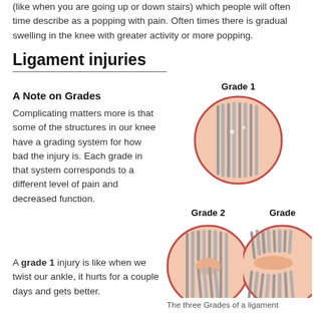(like when you are going up or down stairs) which people will often time describe as a popping with pain.  Often times there is gradual swelling in the knee with greater activity or more popping.
Ligament injuries
A Note on Grades
Complicating matters more is that some of the structures in our knee have a grading system for how bad the injury is.  Each grade in that system corresponds to a different level of pain and decreased function.
A grade 1 injury is like when we twist our ankle, it hurts for a couple days and gets better.
[Figure (illustration): Three circular illustrations showing the three grades of a ligament injury. Grade 1 (top center): intact ligament fibers with minor disruption. Grade 2 (bottom left): partial tear with visible gap in fibers. Grade 3 (bottom right, partially cut off): complete tear with frayed fibers. Labels: 'Grade 1', 'Grade 2', 'Gra[de 3]' (partially visible).]
The three Grades of a ligament